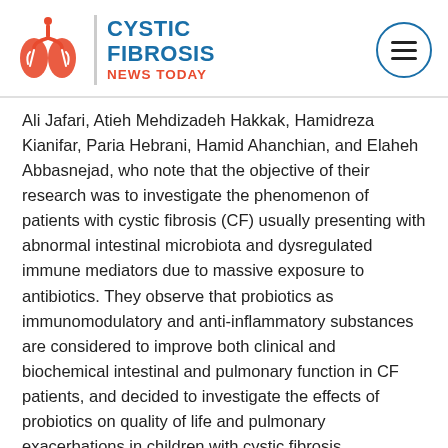Cystic Fibrosis News Today
Ali Jafari, Atieh Mehdizadeh Hakkak, Hamidreza Kianifar, Paria Hebrani, Hamid Ahanchian, and Elaheh Abbasnejad, who note that the objective of their research was to investigate the phenomenon of patients with cystic fibrosis (CF) usually presenting with abnormal intestinal microbiota and dysregulated immune mediators due to massive exposure to antibiotics. They observe that probiotics as immunomodulatory and anti-inflammatory substances are considered to improve both clinical and biochemical intestinal and pulmonary function in CF patients, and decided to investigate the effects of probiotics on quality of life and pulmonary exacerbations in children with cystic fibrosis.